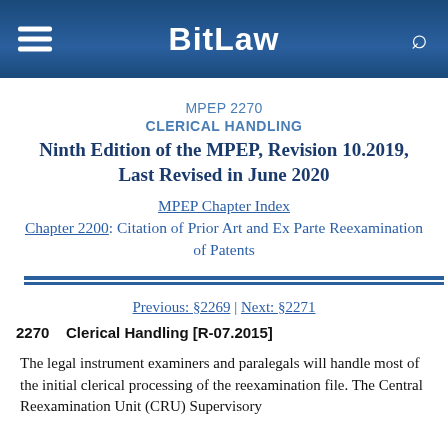BitLaw
MPEP 2270
CLERICAL HANDLING
Ninth Edition of the MPEP, Revision 10.2019, Last Revised in June 2020
MPEP Chapter Index
Chapter 2200: Citation of Prior Art and Ex Parte Reexamination of Patents
Previous: §2269 | Next: §2271
2270    Clerical Handling [R-07.2015]
The legal instrument examiners and paralegals will handle most of the initial clerical processing of the reexamination file. The Central Reexamination Unit (CRU) Supervisory